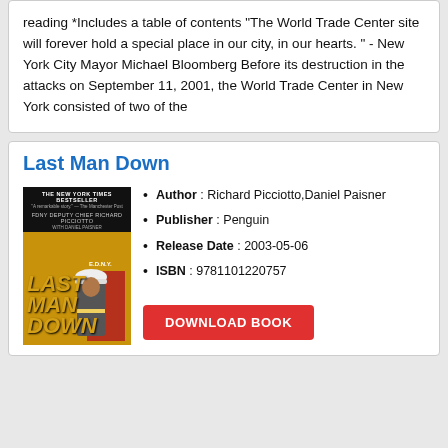reading *Includes a table of contents "The World Trade Center site will forever hold a special place in our city, in our hearts. " - New York City Mayor Michael Bloomberg Before its destruction in the attacks on September 11, 2001, the World Trade Center in New York consisted of two of the
Last Man Down
[Figure (illustration): Book cover of 'Last Man Down' by FDNY Deputy Chief Richard Picciotto with Daniel Paisner. New York Times Bestseller. Yellow/gold and black cover with firefighter in helmet and FDNY truck.]
Author : Richard Picciotto,Daniel Paisner
Publisher : Penguin
Release Date : 2003-05-06
ISBN : 9781101220757